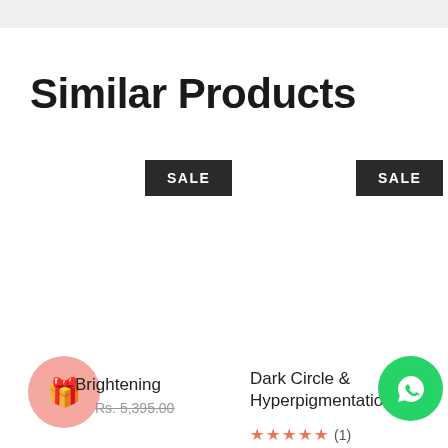Similar Products
SALE
SALE
Brightening
Rs. 5,395.00
Dark Circle & Hyperpigmentation...
(1)